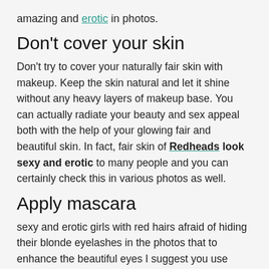amazing and erotic in photos.
Don't cover your skin
Don't try to cover your naturally fair skin with makeup. Keep the skin natural and let it shine without any heavy layers of makeup base. You can actually radiate your beauty and sex appeal both with the help of your glowing fair and beautiful skin. In fact, fair skin of Redheads look sexy and erotic to many people and you can certainly check this in various photos as well.
Apply mascara
sexy and erotic girls with red hairs afraid of hiding their blonde eyelashes in the photos that to enhance the beautiful eyes I suggest you use mascara. It completely defines your erotic look in photos. If you afraid to have dark eyes so you can simply choose a dark brown shade of mascara